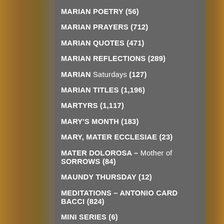MARIAN POETRY (56)
MARIAN PRAYERS (712)
MARIAN QUOTES (471)
MARIAN REFLECTIONS (289)
MARIAN Saturdays (127)
MARIAN TITLES (1,196)
MARTYRS (1,117)
MARY'S MONTH (183)
MARY, MATER ECCLESIAE (23)
MATER DOLOROSA – Mother of SORROWS (84)
MAUNDY THURSDAY (12)
MEDITATIONS – ANTONIO CARD BACCI (824)
MINI SERIES (6)